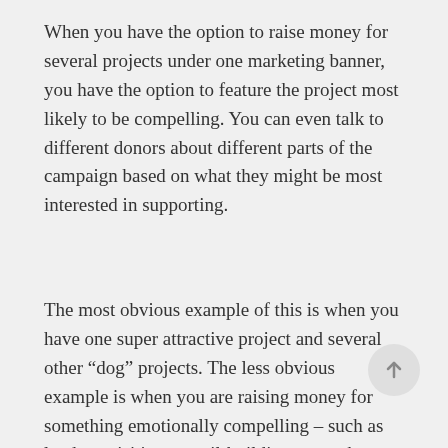When you have the option to raise money for several projects under one marketing banner, you have the option to feature the project most likely to be compelling. You can even talk to different donors about different parts of the campaign based on what they might be most interested in supporting.
The most obvious example of this is when you have one super attractive project and several other “dog” projects. The less obvious example is when you are raising money for something emotionally compelling – such as land acquisition or trail-building – together with items that might be equally important, but less